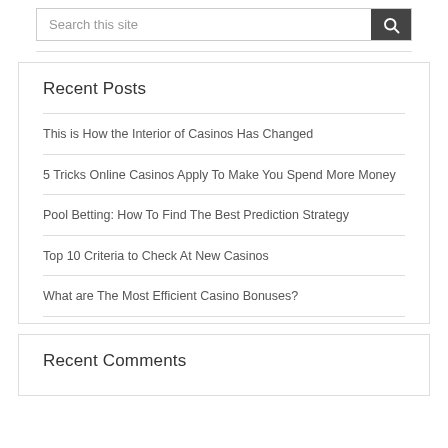Search this site
This is How the Interior of Casinos Has Changed
5 Tricks Online Casinos Apply To Make You Spend More Money
Pool Betting: How To Find The Best Prediction Strategy
Top 10 Criteria to Check At New Casinos
What are The Most Efficient Casino Bonuses?
Recent Posts
Recent Comments